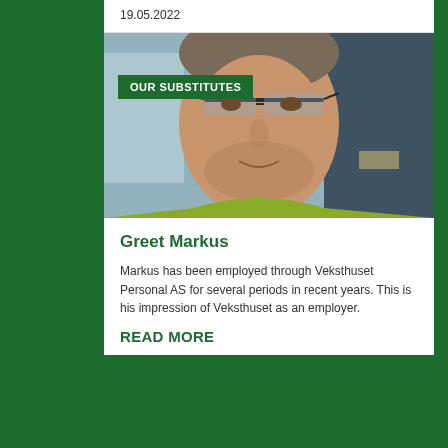19.05.2022
[Figure (photo): Close-up photo of a man wearing glasses and a yellow-green top, with a label badge reading OUR SUBSTITUTES overlaid in the upper-left area of the photo]
Greet Markus
Markus has been employed through Veksthuset Personal AS for several periods in recent years. This is his impression of Veksthuset as an employer.
READ MORE